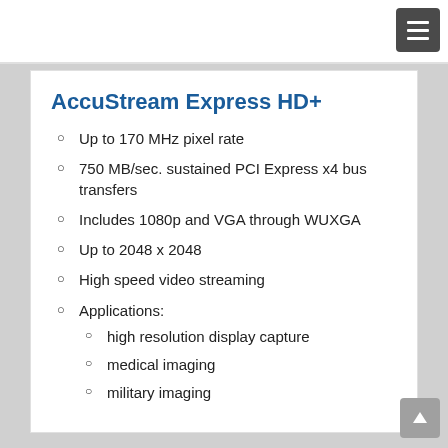AccuStream Express HD+
Up to 170 MHz pixel rate
750 MB/sec. sustained PCI Express x4 bus transfers
Includes 1080p and VGA through WUXGA
Up to 2048 x 2048
High speed video streaming
Applications:
high resolution display capture
medical imaging
military imaging